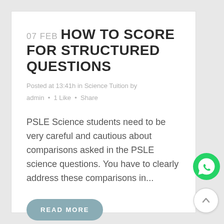07 FEB HOW TO SCORE FOR STRUCTURED QUESTIONS
Posted at 13:41h in Science Tuition by admin · 1 Like · Share
PSLE Science students need to be very careful and cautious about comparisons asked in the PSLE science questions. You have to clearly address these comparisons in...
READ MORE